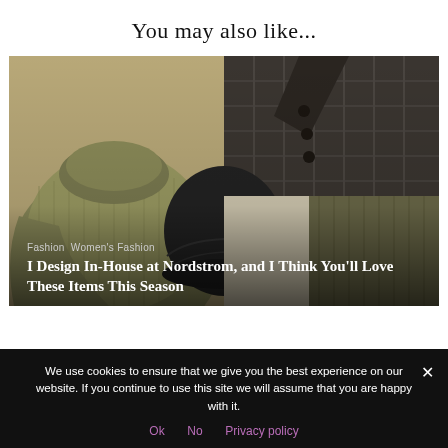You may also like...
[Figure (photo): Collage of fashion items including an olive/khaki ribbed turtleneck sweater, a dark charcoal plaid double-breasted blazer, a black knit beanie hat, and olive/dark ribbed knit pants on a light background]
Fashion Women's Fashion
I Design In-House at Nordstrom, and I Think You'll Love These Items This Season
We use cookies to ensure that we give you the best experience on our website. If you continue to use this site we will assume that you are happy with it.
Ok  No  Privacy policy